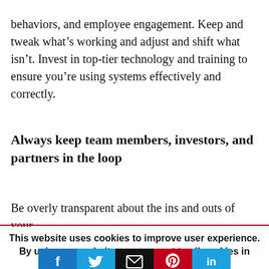behaviors, and employee engagement. Keep and tweak what's working and adjust and shift what isn't. Invest in top-tier technology and training to ensure you're using systems effectively and correctly.
Always keep team members, investors, and partners in the loop
Be overly transparent about the ins and outs of your
This website uses cookies to improve user experience. By using our website you consent to all cookies in accordance with our Cookie Policy.
Read More  Accept
[Figure (infographic): Social sharing buttons: Facebook (blue), Twitter (light blue), Email (black), Pinterest (red), LinkedIn (light blue)]